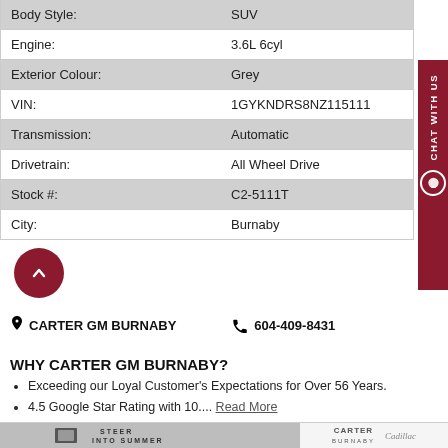| Field | Value |
| --- | --- |
| Body Style: | SUV |
| Engine: | 3.6L 6cyl |
| Exterior Colour: | Grey |
| VIN: | 1GYKNDRS8NZ115111 |
| Transmission: | Automatic |
| Drivetrain: | All Wheel Drive |
| Stock #: | C2-5111T |
| City: | Burnaby |
CARTER GM BURNABY   604-409-8431
WHY CARTER GM BURNABY?
Exceeding our Loyal Customer's Expectations for Over 56 Years.
4.5 Google Star Rating with 10.... Read More
[Figure (photo): Carter Burnaby Cadillac dealership promo image - Steer Into Summer campaign with Carter Burnaby and Cadillac logos]